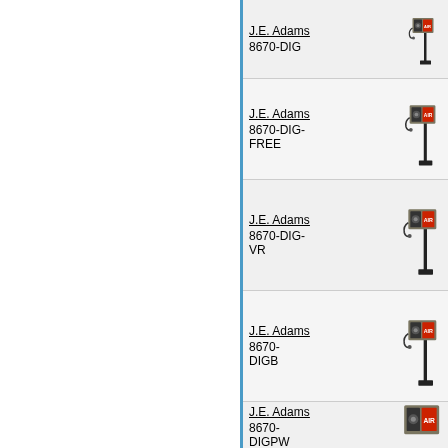| Brand | Model | Image |
| --- | --- | --- |
| J.E. Adams | 8670-DIG | [product image] |
| J.E. Adams | 8670-DIG-FREE | [product image] |
| J.E. Adams | 8670-DIG-VR | [product image] |
| J.E. Adams | 8670-DIGB | [product image] |
| J.E. Adams | 8670-DIGPW | [product image] |